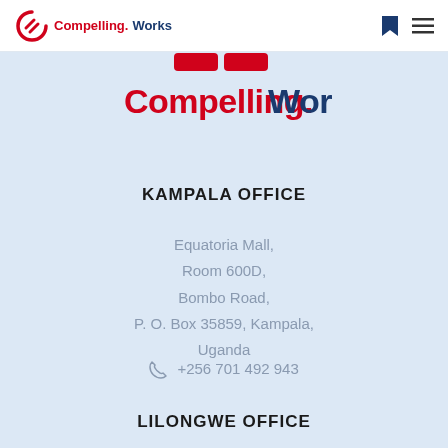Compelling.Works
[Figure (logo): Compelling.Works large logo with red chevron stripes graphic and red/blue text]
KAMPALA OFFICE
Equatoria Mall,
Room 600D,
Bombo Road,
P. O. Box 35859, Kampala,
Uganda
+256 701 492 943
LILONGWE OFFICE